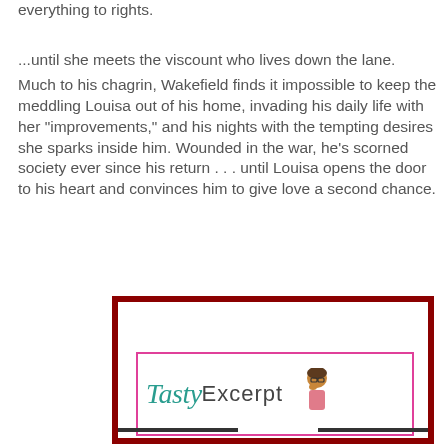everything to rights.

...until she meets the viscount who lives down the lane.
Much to his chagrin, Wakefield finds it impossible to keep the meddling Louisa out of his home, invading his daily life with her "improvements," and his nights with the tempting desires she sparks inside him. Wounded in the war, he's scorned society ever since his return . . . until Louisa opens the door to his heart and convinces him to give love a second chance.
[Figure (logo): Tasty Excerpt logo — script 'Tasty' in teal, sans-serif 'Excerpt' in gray, inside a pink border rectangle; cartoon woman figure to the right; all within a dark red outer border frame.]